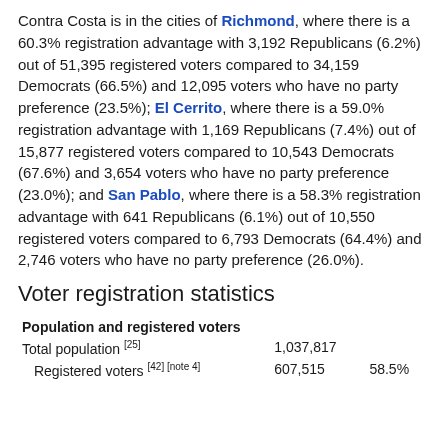Contra Costa is in the cities of Richmond, where there is a 60.3% registration advantage with 3,192 Republicans (6.2%) out of 51,395 registered voters compared to 34,159 Democrats (66.5%) and 12,095 voters who have no party preference (23.5%); El Cerrito, where there is a 59.0% registration advantage with 1,169 Republicans (7.4%) out of 15,877 registered voters compared to 10,543 Democrats (67.6%) and 3,654 voters who have no party preference (23.0%); and San Pablo, where there is a 58.3% registration advantage with 641 Republicans (6.1%) out of 10,550 registered voters compared to 6,793 Democrats (64.4%) and 2,746 voters who have no party preference (26.0%).
Voter registration statistics
|  |  |  |
| --- | --- | --- |
| Population and registered voters |  |  |
| Total population [25] | 1,037,817 |  |
| Registered voters [42][note 4] | 607,515 | 58.5% |